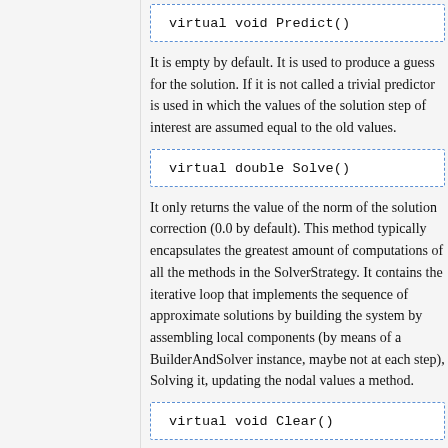virtual void Predict()
It is empty by default. It is used to produce a guess for the solution. If it is not called a trivial predictor is used in which the values of the solution step of interest are assumed equal to the old values.
virtual double Solve()
It only returns the value of the norm of the solution correction (0.0 by default). This method typically encapsulates the greatest amount of computations of all the methods in the SolverStrategy. It contains the iterative loop that implements the sequence of approximate solutions by building the system by assembling local components (by means of a BuilderAndSolver instance, maybe not at each step), Solving it, updating the nodal values a method.
virtual void Clear()